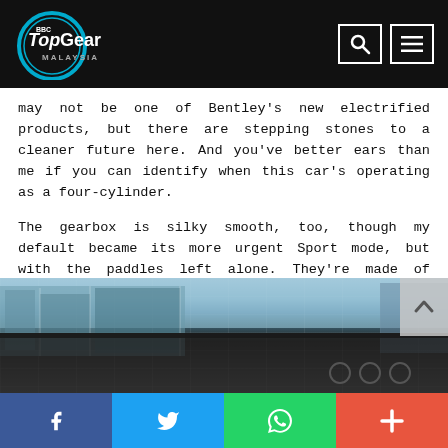BBC Top Gear Malaysia
may not be one of Bentley’s new electrified products, but there are stepping stones to a cleaner future here. And you’ve better ears than me if you can identify when this car’s operating as a four-cylinder.
The gearbox is silky smooth, too, though my default became its more urgent Sport mode, but with the paddles left alone. They’re made of delightfully tactile metal, but the eight-speed transmission is so smart, you’ll just be getting in the way of its good work if your barge in and have a go yourself.
[Figure (photo): Interior view of a Bentley car dashboard and roof, with building visible through windscreen in the background]
Social share bar: Facebook, Twitter, WhatsApp, More